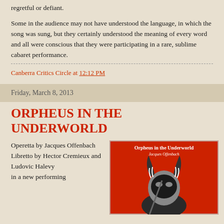regretful or defiant.
Some in the audience may not have understood the language, in which the song was sung, but they certainly understood the meaning of every word and all were conscious that they were participating in a rare, sublime cabaret performance.
Canberra Critics Circle at 12:12 PM
Friday, March 8, 2013
ORPHEUS IN THE UNDERWORLD
Operetta by Jacques Offenbach
Libretto by Hector Cremieux and Ludovic Halevy
in a new performing
[Figure (photo): Album cover for Orpheus in the Underworld by Jacques Offenbach, showing a performer in a horned mask on a red background with white text overlay.]